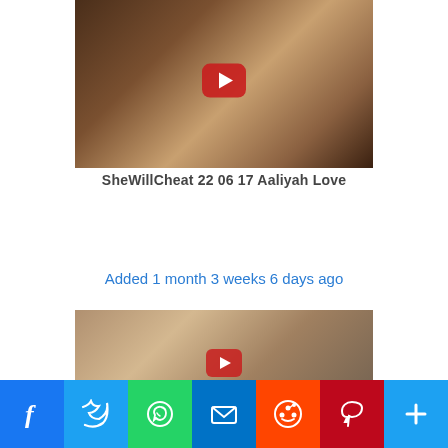[Figure (screenshot): Video thumbnail showing two people on a couch with a YouTube play button overlay]
SheWillCheat 22 06 17 Aaliyah Love
Added 1 month 3 weeks 6 days ago
[Figure (screenshot): Video thumbnail showing a woman in a kitchen with a YouTube play button overlay]
[Figure (infographic): Social share bar with Facebook, Twitter, WhatsApp, Email, Reddit, Pinterest, and More buttons]